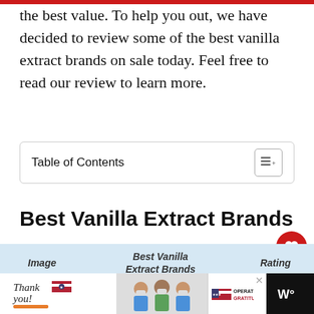the best value. To help you out, we have decided to review some of the best vanilla extract brands on sale today. Feel free to read our review to learn more.
| Image | Best Vanilla Extract Brands | Rating |
| --- | --- | --- |
| [image] | 1. Nielsen-Massey Bourbon | 99% |
Best Vanilla Extract Brands
[Figure (screenshot): Advertisement banner: Thank you Operation Gratitude with photo of people]